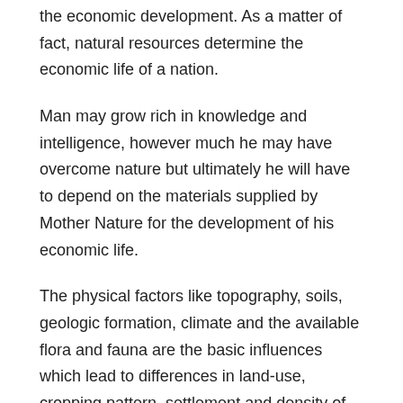the economic development. As a matter of fact, natural resources determine the economic life of a nation.
Man may grow rich in knowledge and intelligence, however much he may have overcome nature but ultimately he will have to depend on the materials supplied by Mother Nature for the development of his economic life.
The physical factors like topography, soils, geologic formation, climate and the available flora and fauna are the basic influences which lead to differences in land-use, cropping pattern, settlement and density of population and occurrence of minerals, water and power resources in different parts of the country.
Geography also became an important part of other academic disciplines, such as chemistry, economics and philosophy. In fact every academic subject has some geographic connection and the